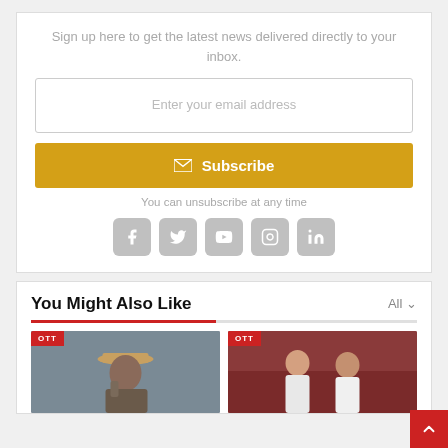Sign up here to get the latest news delivered directly to your inbox.
Enter your email address
Subscribe
You can unsubscribe at any time
[Figure (illustration): Row of five social media icons: Facebook, Twitter, YouTube, Instagram, LinkedIn — grey rounded squares]
You Might Also Like
[Figure (photo): OTT tagged photo of a woman on the phone wearing a cap]
[Figure (photo): OTT tagged photo of two people on a red/maroon set]